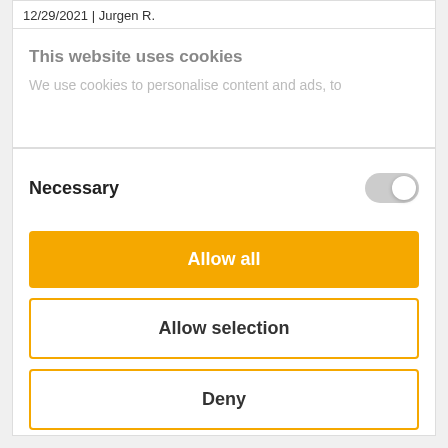12/29/2021 | Jurgen R.
This website uses cookies
We use cookies to personalise content and ads, to
Necessary
[Figure (other): Toggle switch in off/disabled state (gray)]
Allow all
Allow selection
Deny